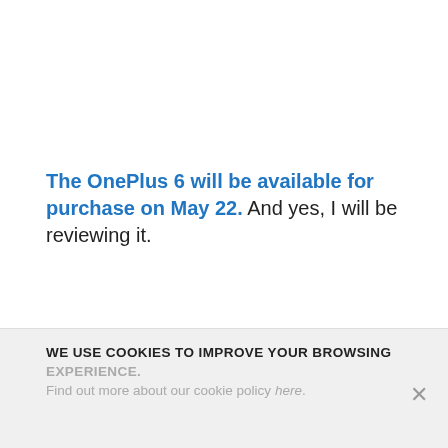The OnePlus 6 will be available for purchase on May 22. And yes, I will be reviewing it.
Tagged with OnePlus, OnePlus 6
WE USE COOKIES TO IMPROVE YOUR BROWSING EXPERIENCE. Find out more about our cookie policy here.